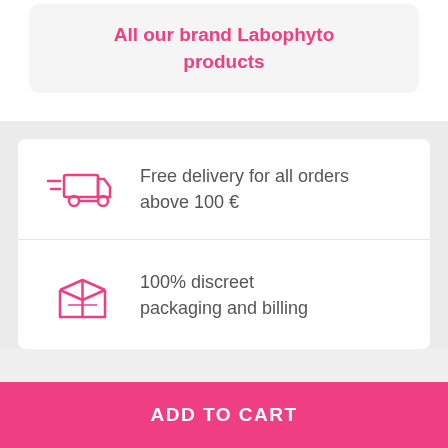All our brand Labophyto products
Free delivery for all orders above 100 €
100% discreet packaging and billing
ADD TO CART